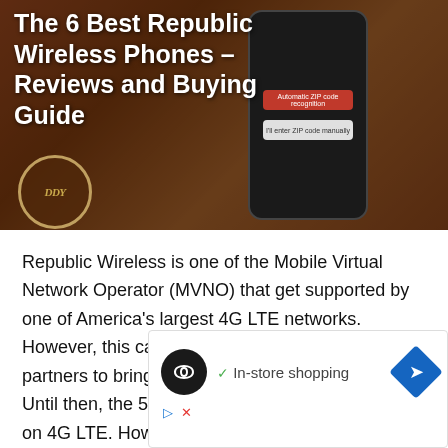[Figure (photo): Hero banner image showing a smartphone with a dark wood/brown background. The phone screen shows UI buttons including a red 'Automatic ZIP code recognition' button and a gray input field. A circular logo watermark appears at lower left of the image.]
The 6 Best Republic Wireless Phones – Reviews and Buying Guide
Republic Wireless is one of the Mobile Virtual Network Operator (MVNO) that get supported by one of America's largest 4G LTE networks. However, this carrier is working with some cellular partners to bring 5G service to Republic Wireless. Until then, the 5G compatible phones will operate on 4G LTE. However, Republic Wireless phones feature their own rate plans
[Figure (other): Advertisement banner showing a dark circular icon with infinity/loop symbol, a checkmark with 'In-store shopping' text, and a blue diamond-shaped navigation arrow icon. Below are small play and close/X control icons.]